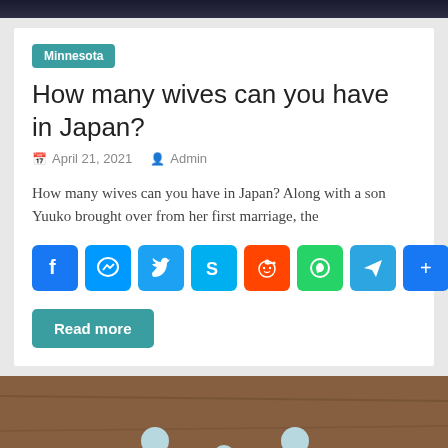[Figure (photo): Dark gradient top image strip]
Minnesota
How many wives can you have in Japan?
April 21, 2021  Admin
How many wives can you have in Japan? Along with a son Yuuko brought over from her first marriage, the
[Figure (infographic): Social sharing icons: Facebook, Messenger, Twitter, Skype, Reddit, WhatsApp, Telegram, Share]
Read more
[Figure (photo): Paper cutout family figures (two adults and a child) on a wooden surface with red paper hearts split apart underneath them]